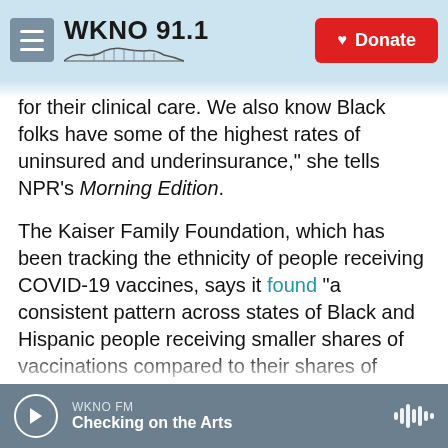WKNO 91.1 | Donate
for their clinical care. We also know Black folks have some of the highest rates of uninsured and underinsurance," she tells NPR's Morning Edition.
The Kaiser Family Foundation, which has been tracking the ethnicity of people receiving COVID-19 vaccines, says it found "a consistent pattern across states of Black and Hispanic people receiving smaller shares of vaccinations compared to their shares of cases and deaths and compared to their shares of the total population."
In South Carolina, for example, Blacks are 26% of the population but they've made up only 16% of
WKNO FM | Checking on the Arts